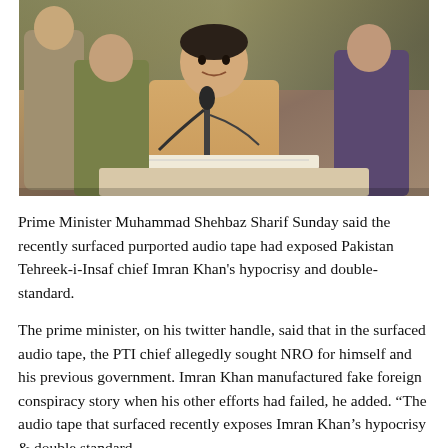[Figure (photo): Prime Minister Muhammad Shehbaz Sharif speaking at a podium with microphones, surrounded by other individuals, at an outdoor or semi-outdoor event.]
Prime Minister Muhammad Shehbaz Sharif Sunday said the recently surfaced purported audio tape had exposed Pakistan Tehreek-i-Insaf chief Imran Khan's hypocrisy and double-standard.
The prime minister, on his twitter handle, said that in the surfaced audio tape, the PTI chief allegedly sought NRO for himself and his previous government. Imran Khan manufactured fake foreign conspiracy story when his other efforts had failed, he added. “The audio tape that surfaced recently exposes Imran Khan's hypocrisy & double standard